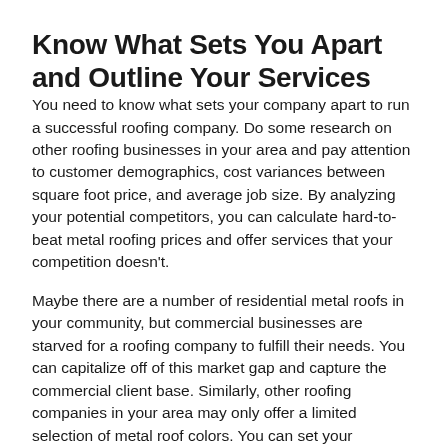Know What Sets You Apart and Outline Your Services
You need to know what sets your company apart to run a successful roofing company. Do some research on other roofing businesses in your area and pay attention to customer demographics, cost variances between square foot price, and average job size. By analyzing your potential competitors, you can calculate hard-to-beat metal roofing prices and offer services that your competition doesn't.
Maybe there are a number of residential metal roofs in your community, but commercial businesses are starved for a roofing company to fulfill their needs. You can capitalize off of this market gap and capture the commercial client base. Similarly, other roofing companies in your area may only offer a limited selection of metal roof colors. You can set your business apart by offering unique shades and color tones for eye-catching metal roofing projects.